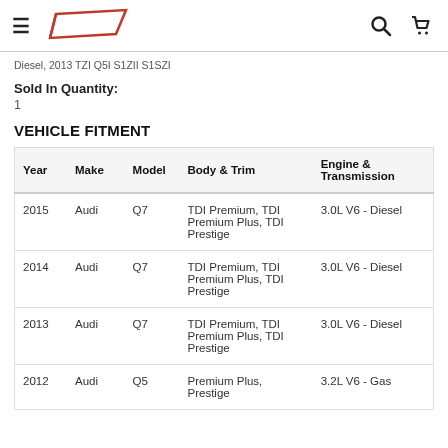Navigation header with hamburger menu, logo, search icon, and cart icon
Diesel, 2013 TZI Q5I S1ZII S1SZI
Sold In Quantity:
1
VEHICLE FITMENT
| Year | Make | Model | Body & Trim | Engine & Transmission |
| --- | --- | --- | --- | --- |
| 2015 | Audi | Q7 | TDI Premium, TDI Premium Plus, TDI Prestige | 3.0L V6 - Diesel |
| 2014 | Audi | Q7 | TDI Premium, TDI Premium Plus, TDI Prestige | 3.0L V6 - Diesel |
| 2013 | Audi | Q7 | TDI Premium, TDI Premium Plus, TDI Prestige | 3.0L V6 - Diesel |
| 2012 | Audi | Q5 | Premium Plus, Prestige | 3.2L V6 - Gas |